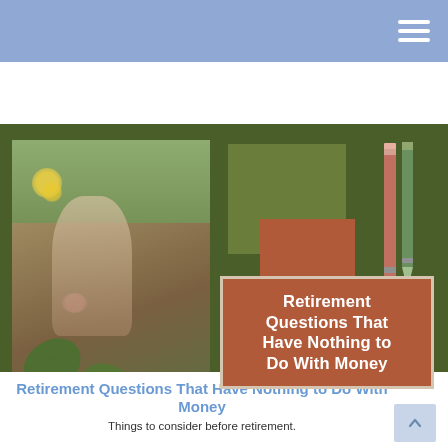[Figure (photo): Header section with blue background and hamburger menu icon in the top right]
[Figure (photo): Main banner image: Dark olive green background with a photo of a person tending to flowers/plants on the left, decorative green and brown squares with a clock icon in the center-right, two pencils on the far right, and a brown title box reading 'Retirement Questions That Have Nothing to Do With Money']
Retirement Questions That Have Nothing to Do With Money
Things to consider before retirement.